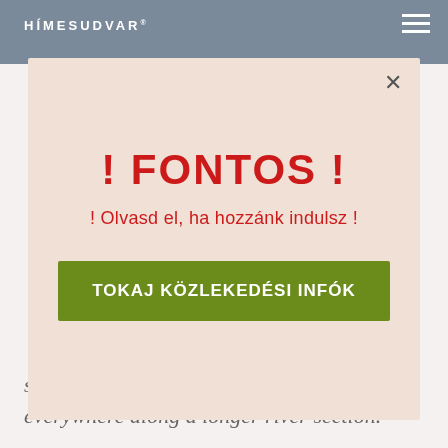HÍMESUDVAR
! FONTOS !
! Olvasd el, ha hozzánk indulsz !
TOKAJ KÖZLEKEDÉSI INFÓK
special spot, but they might occur everywhere along a longer river section.